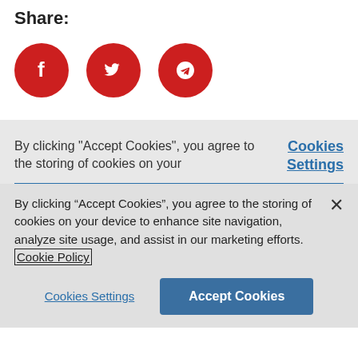Share:
[Figure (illustration): Three red circular social media share buttons: Facebook (f icon), Twitter (bird icon), Telegram (paper plane icon)]
By clicking "Accept Cookies", you agree to the storing of cookies on your
Cookies Settings
By clicking “Accept Cookies”, you agree to the storing of cookies on your device to enhance site navigation, analyze site usage, and assist in our marketing efforts. Cookie Policy
Cookies Settings
Accept Cookies